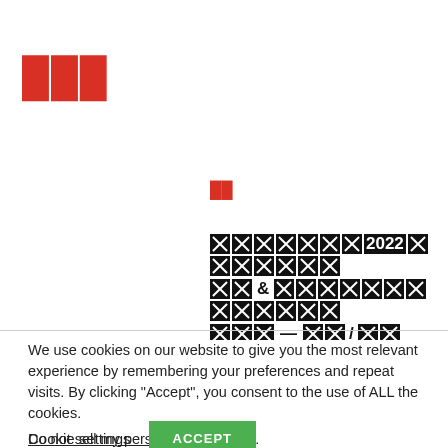[Figure (logo): Three red square bracket / box characters forming a logo in red]
[Figure (other): Small red redacted text label above a large black redacted content block containing '2022' and symbols including '&', '—', '/']
We use cookies on our website to give you the most relevant experience by remembering your preferences and repeat visits. By clicking “Accept”, you consent to the use of ALL the cookies.
Do not sell my personal information.
Cookie settings
ACCEPT